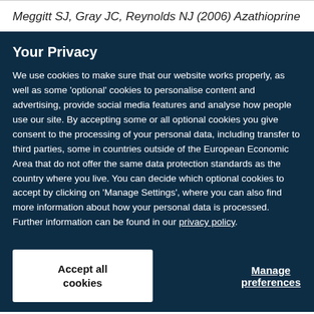Meggitt SJ, Gray JC, Reynolds NJ (2006) Azathioprine
Your Privacy
We use cookies to make sure that our website works properly, as well as some ‘optional’ cookies to personalise content and advertising, provide social media features and analyse how people use our site. By accepting some or all optional cookies you give consent to the processing of your personal data, including transfer to third parties, some in countries outside of the European Economic Area that do not offer the same data protection standards as the country where you live. You can decide which optional cookies to accept by clicking on ‘Manage Settings’, where you can also find more information about how your personal data is processed. Further information can be found in our privacy policy.
Accept all cookies
Manage preferences